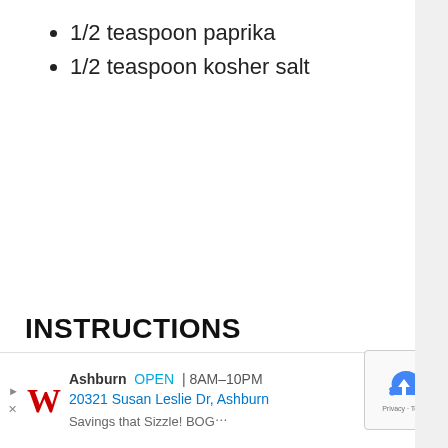1/2 teaspoon paprika
1/2 teaspoon kosher salt
INSTRUCTIONS
1. Preheat oven to 350 degrees
2. [partially visible]
[Figure (other): Advertisement overlay: Walgreens store ad showing Ashburn location, OPEN 8AM-10PM, 20321 Susan Leslie Dr, Ashburn, with Walgreens logo and navigation arrow icon]